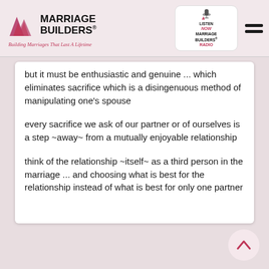[Figure (logo): Marriage Builders logo with triangle/arrow icons and tagline 'Building Marriages That Last A Lifetime']
[Figure (logo): Listen Now Marriage Builders Radio badge with microphone icon]
but it must be enthusiastic and genuine ... which eliminates sacrifice which is a disingenuous method of manipulating one's spouse
every sacrifice we ask of our partner or of ourselves is a step ~away~ from a mutually enjoyable relationship
think of the relationship ~itself~ as a third person in the marriage ... and choosing what is best for the relationship instead of what is best for only one partner